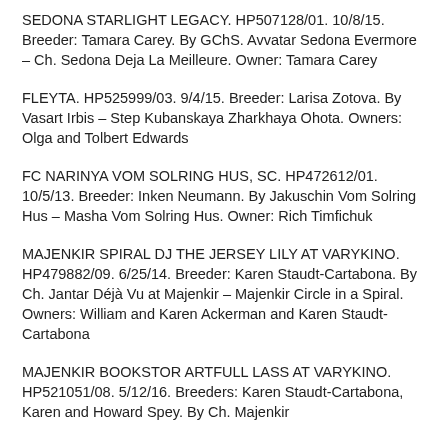SEDONA STARLIGHT LEGACY. HP507128/01. 10/8/15. Breeder: Tamara Carey. By GChS. Avvatar Sedona Evermore – Ch. Sedona Deja La Meilleure. Owner: Tamara Carey
FLEYTA. HP525999/03. 9/4/15. Breeder: Larisa Zotova. By Vasart Irbis – Step Kubanskaya Zharkhaya Ohota. Owners: Olga and Tolbert Edwards
FC NARINYA VOM SOLRING HUS, SC. HP472612/01. 10/5/13. Breeder: Inken Neumann. By Jakuschin Vom Solring Hus – Masha Vom Solring Hus. Owner: Rich Timfichuk
MAJENKIR SPIRAL DJ THE JERSEY LILY AT VARYKINO. HP479882/09. 6/25/14. Breeder: Karen Staudt-Cartabona. By Ch. Jantar Déjà Vu at Majenkir – Majenkir Circle in a Spiral. Owners: William and Karen Ackerman and Karen Staudt-Cartabona
MAJENKIR BOOKSTOR ARTFULL LASS AT VARYKINO. HP521051/08. 5/12/16. Breeders: Karen Staudt-Cartabona, Karen and Howard Spey. By Ch. Majenkir